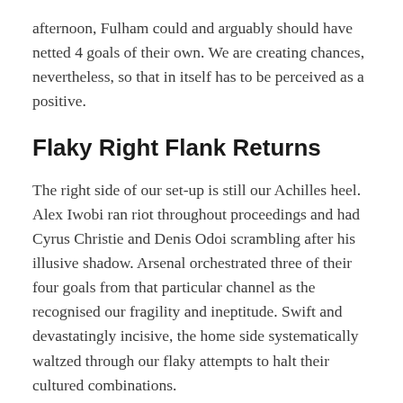afternoon, Fulham could and arguably should have netted 4 goals of their own. We are creating chances, nevertheless, so that in itself has to be perceived as a positive.
Flaky Right Flank Returns
The right side of our set-up is still our Achilles heel. Alex Iwobi ran riot throughout proceedings and had Cyrus Christie and Denis Odoi scrambling after his illusive shadow. Arsenal orchestrated three of their four goals from that particular channel as the recognised our fragility and ineptitude. Swift and devastatingly incisive, the home side systematically waltzed through our flaky attempts to halt their cultured combinations.
With Iwobi's guile and Pierre-Emerick Aubameyang's imperious